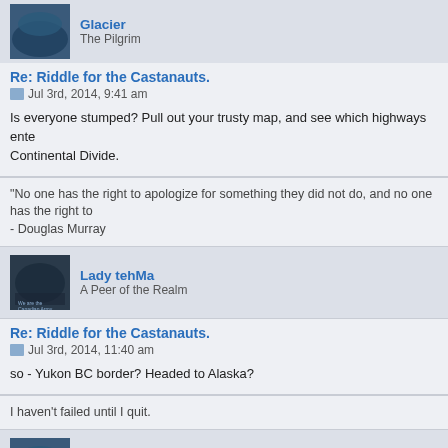[Figure (photo): Avatar of Glacier (The Pilgrim) - dark blue underwater/glacier image]
Glacier
The Pilgrim
Re: Riddle for the Castanauts.
Jul 3rd, 2014, 9:41 am
Is everyone stumped? Pull out your trusty map, and see which highways enter the Continental Divide.
"No one has the right to apologize for something they did not do, and no one has the right to
- Douglas Murray
[Figure (photo): Avatar of Lady tehMa (A Peer of the Realm) - dark image]
Lady tehMa
A Peer of the Realm
Re: Riddle for the Castanauts.
Jul 3rd, 2014, 11:40 am
so - Yukon BC border? Headed to Alaska?
I haven't failed until I quit.
[Figure (photo): Avatar of Glacier (The Pilgrim) - dark blue underwater/glacier image]
Glacier
The Pilgrim